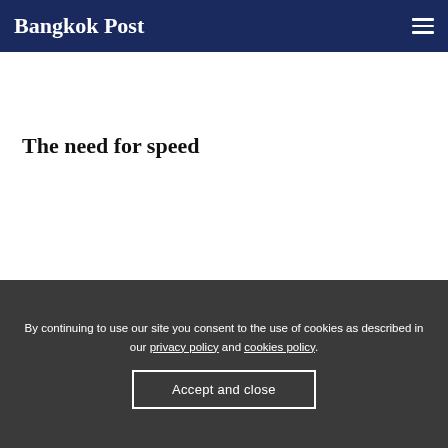Bangkok Post
The need for speed
By continuing to use our site you consent to the use of cookies as described in our privacy policy and cookies policy.
Accept and close